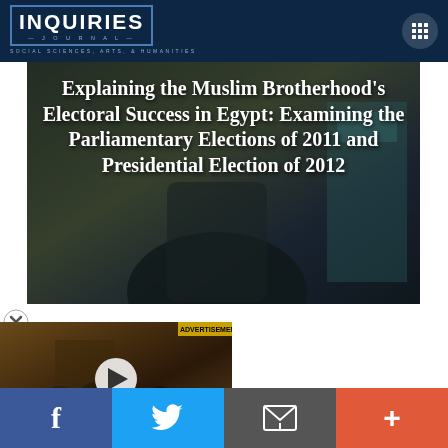[Figure (logo): Inquiries Journal logo — Social Sciences, Arts & Humanities]
Explaining the Muslim Brotherhood's Electoral Success in Egypt: Examining the Parliamentary Elections of 2011 and Presidential Election of 2012
[Figure (photo): Hero image showing a man in a suit in front of Arabic text posters]
[Figure (photo): Video thumbnail showing an audience/classroom scene with a play button overlay]